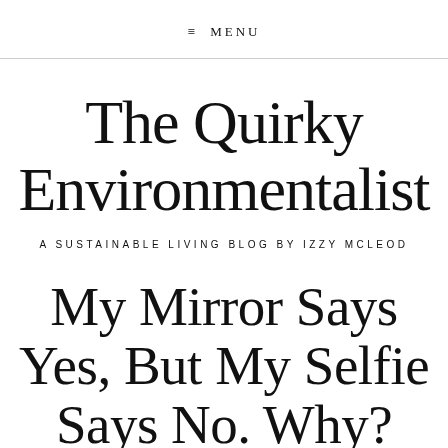≡ MENU
The Quirky Environmentalist
A SUSTAINABLE LIVING BLOG BY IZZY MCLEOD
My Mirror Says Yes, But My Selfie Says No. Why?